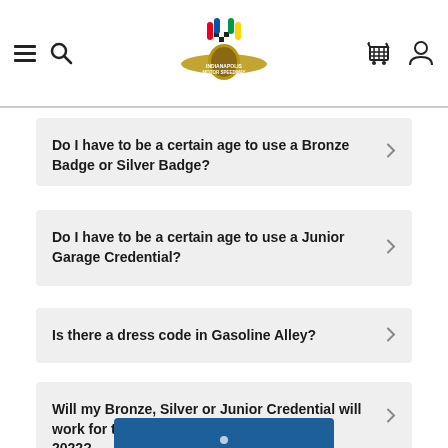Indianapolis Motor Speedway navigation header with hamburger menu, search, logo, cart, and user icons
Do I have to be a certain age to use a Bronze Badge or Silver Badge?
Do I have to be a certain age to use a Junior Garage Credential?
Is there a dress code in Gasoline Alley?
Will my Bronze, Silver or Junior Credential will work for the INDYCAR race at IMS in July 2022?